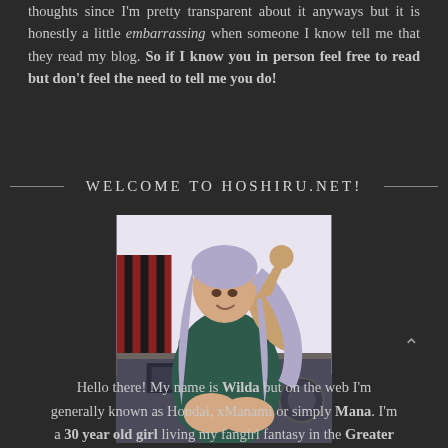thoughts since I'm pretty transparent about it anyways but it is honestly a little embarrassing when someone I know tell me that they read my blog. So if I know you in person feel free to read but don't feel the need to tell me you do!
WELCOME TO HOSHIRU.NET!
[Figure (photo): A young woman with long light purple/silver hair, wearing a dark teal/green oversized top, sitting in what appears to be a room with a keyboard and headphones visible in the background.]
Hello there! My name is Wilda but on the web I'm generally known as Hondai, xManami or simply Mana. I'm a 30 year old girl living my fangirl fantasy in the Greater